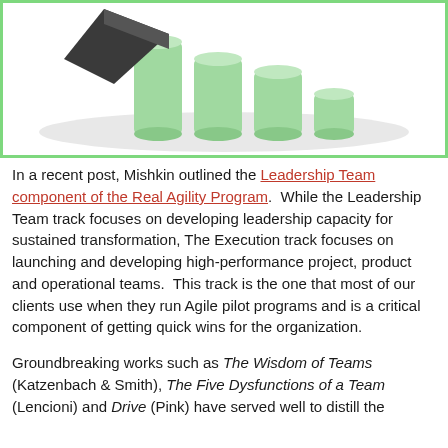[Figure (illustration): Decorative illustration showing 3D green bar chart cylinders on a white oval base with a dark angular shape (book or arrow) in the foreground, set inside a green-bordered box.]
In a recent post, Mishkin outlined the Leadership Team component of the Real Agility Program.  While the Leadership Team track focuses on developing leadership capacity for sustained transformation, The Execution track focuses on launching and developing high-performance project, product and operational teams.  This track is the one that most of our clients use when they run Agile pilot programs and is a critical component of getting quick wins for the organization.
Groundbreaking works such as The Wisdom of Teams (Katzenbach & Smith), The Five Dysfunctions of a Team (Lencioni) and Drive (Pink) have served well to distill the